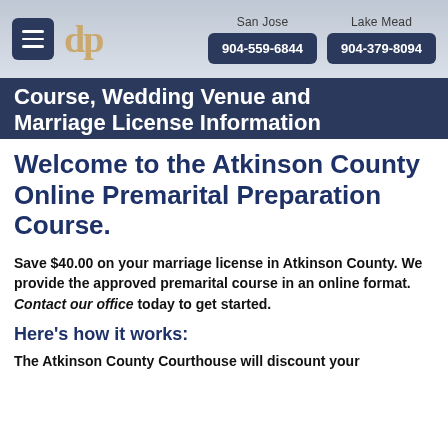San Jose 904-559-6844 | Lake Mead 904-379-8094
Course, Wedding Venue and Marriage License Information
Welcome to the Atkinson County Online Premarital Preparation Course.
Save $40.00 on your marriage license in Atkinson County. We provide the approved premarital course in an online format. Contact our office today to get started.
Here's how it works:
The Atkinson County Courthouse will discount your